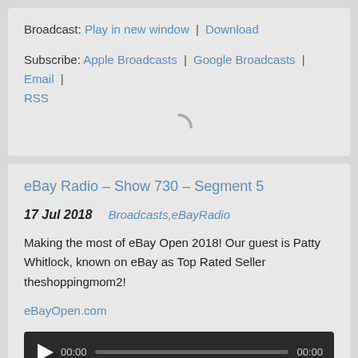Broadcast: Play in new window | Download
Subscribe: Apple Broadcasts | Google Broadcasts | Email | RSS
[Figure (other): Loading spinner animation]
eBay Radio – Show 730 – Segment 5
17 Jul 2018   Broadcasts,eBayRadio
Making the most of eBay Open 2018! Our guest is Patty Whitlock, known on eBay as Top Rated Seller theshoppingmom2!
eBayOpen.com
[Figure (other): Audio player with play button, progress bar, and time display showing 00:00 / 00:00]